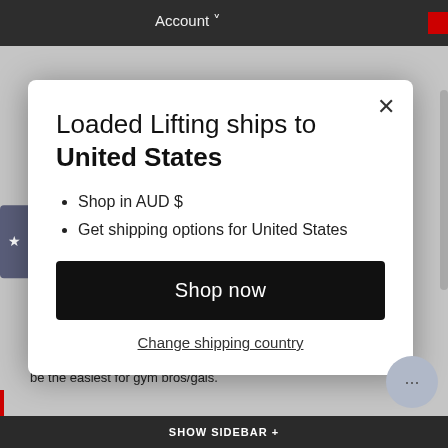Account
[Figure (screenshot): Reviews sidebar tab with star icon on left side of page]
Loaded Lifting ships to United States
Shop in AUD $
Get shipping options for United States
Shop now
Change shipping country
SHOW SIDEBAR +